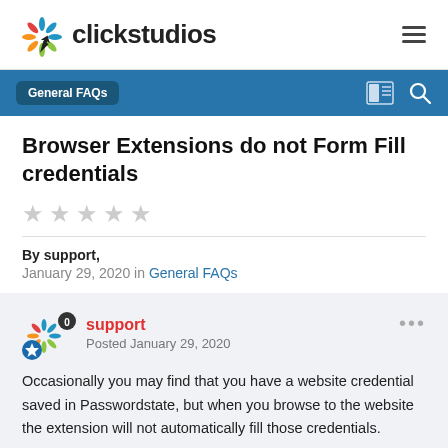clickstudios
General FAQs
Browser Extensions do not Form Fill credentials
By support,
January 29, 2020 in General FAQs
support
Posted January 29, 2020
Occasionally you may find that you have a website credential saved in Passwordstate, but when you browse to the website the extension will not automatically fill those credentials.